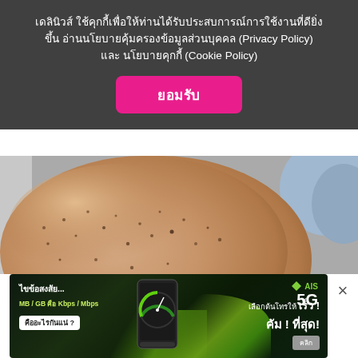เดลินิวส์ ใช้คุกกี้เพื่อให้ท่านได้รับประสบการณ์การใช้งานที่ดียิ่งขึ้น อ่านนโยบายคุ้มครองข้อมูลส่วนบุคคล (Privacy Policy) และ นโยบายคุกกี้ (Cookie Policy)
ยอมรับ
[Figure (photo): Close-up photo of human skin (arm/leg area) showing small dark spots/hyperpigmentation, with a hand touching the skin. Medical/dermatology context.]
[Figure (photo): AIS 5G advertisement banner with green light beam effect, smartphone image, Thai text about internet speed confusion (MB/GB vs Kbps/Mbps), and call-to-action button.]